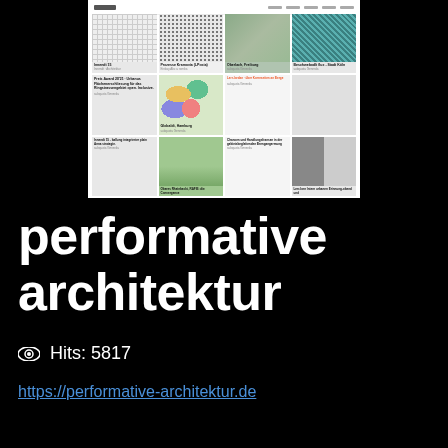[Figure (screenshot): Screenshot of the performative-architektur.de website showing a grid of project thumbnails with titles and category labels]
performative architektur
Hits: 5817
https://performative-architektur.de